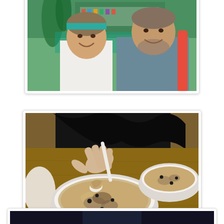[Figure (photo): Two people (a woman with a teal headband and a man with a beard) smiling at camera in a casual outdoor food/drink stall setting]
[Figure (photo): Close-up of two white bowls of souse (broth soup with meat) on a wooden surface, with a hand holding a plastic spoon lifting a piece of meat from one bowl]
mutton souse and pork souse
[Figure (photo): Partially visible photo at bottom of page, appears to show a dark scene]